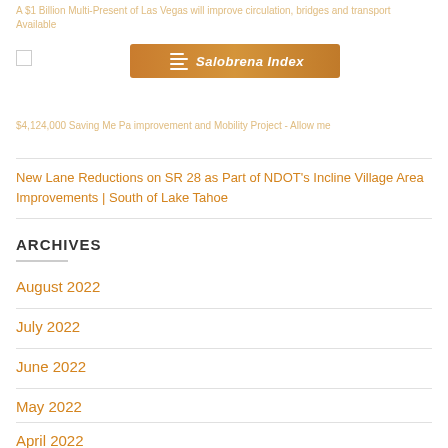A $1 Billion Multi-Present of Las Vegas will improve circulation, bridges and transport Available
[Figure (logo): Salobrena Index orange logo/navigation bar]
$4,124,000 Saving Me Pa improvement and Mobility Project - Allow me
New Lane Reductions on SR 28 as Part of NDOT's Incline Village Area Improvements | South of Lake Tahoe
ARCHIVES
August 2022
July 2022
June 2022
May 2022
April 2022
March 2022